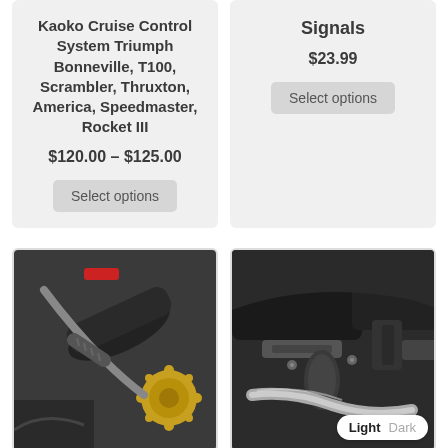Kaoko Cruise Control System Triumph Bonneville, T100, Scrambler, Thruxton, America, Speedmaster, Rocket III
$120.00 – $125.00
Select options
Signals
$23.99
Select options
[Figure (photo): Close-up photo of a motorcycle cruise control throttle mechanism with gold-colored gear component and rubber throttle grip.]
[Figure (photo): Close-up photo of motorcycle footpeg and exhaust area, dark metallic parts. Has a Light/Dark toggle badge overlay.]